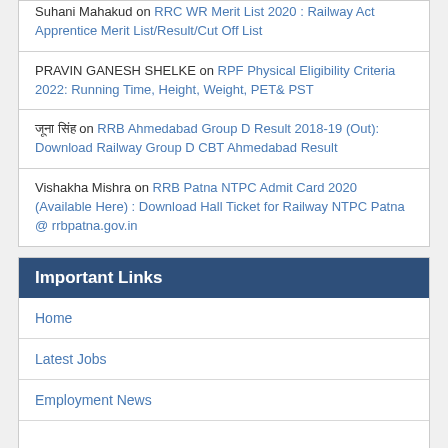Suhani Mahakud on RRC WR Merit List 2020 : Railway Act Apprentice Merit List/Result/Cut Off List
PRAVIN GANESH SHELKE on RPF Physical Eligibility Criteria 2022: Running Time, Height, Weight, PET& PST
जूना सिंह on RRB Ahmedabad Group D Result 2018-19 (Out): Download Railway Group D CBT Ahmedabad Result
Vishakha Mishra on RRB Patna NTPC Admit Card 2020 (Available Here) : Download Hall Ticket for Railway NTPC Patna @ rrbpatna.gov.in
Important Links
Home
Latest Jobs
Employment News